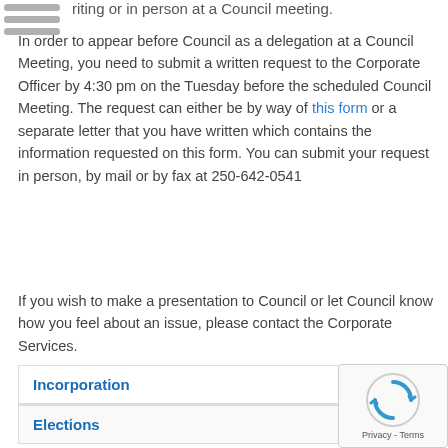riting or in person at a Council meeting.
In order to appear before Council as a delegation at a Council Meeting, you need to submit a written request to the Corporate Officer by 4:30 pm on the Tuesday before the scheduled Council Meeting. The request can either be by way of this form or a separate letter that you have written which contains the information requested on this form. You can submit your request in person, by mail or by fax at 250-642-0541
If you wish to make a presentation to Council or let Council know how you feel about an issue, please contact the Corporate Services.
Incorporation
Elections